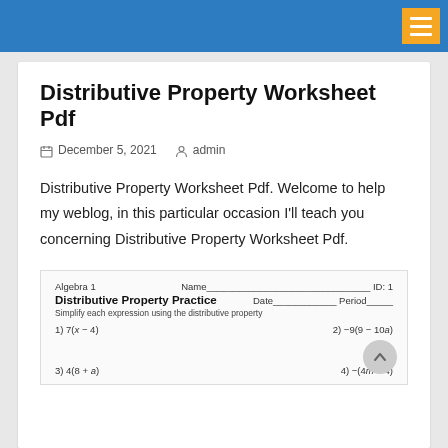Distributive Property Worksheet Pdf
December 5, 2021  admin
Distributive Property Worksheet Pdf. Welcome to help my weblog, in this particular occasion I'll teach you concerning Distributive Property Worksheet Pdf.
[Figure (screenshot): Worksheet preview showing 'Algebra 1' header, 'Distributive Property Practice' title, Name/ID/Date/Period fields, instruction 'Simplify each expression using the distributive property', problems: 1) 7(x-4), 2) -9(9-10a), 3) 4(8+a), 4) -(4m-4)]